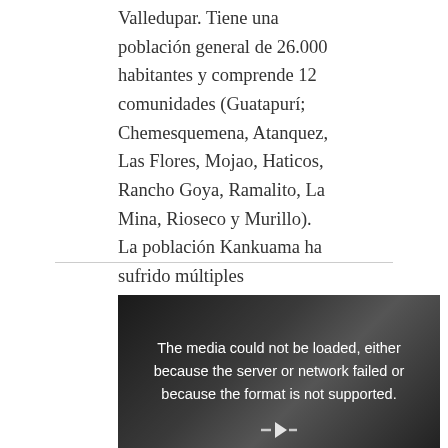Valledupar. Tiene una población general de 26.000 habitantes y comprende 12 comunidades (Guatapurí; Chemesquemena, Atanquez, Las Flores, Mojao, Haticos, Rancho Goya, Ramalito, La Mina, Rioseco y Murillo). La población Kankuama ha sufrido múltiples afectaciones a sus formas … Read More
[Figure (other): Video player showing error message: 'The media could not be loaded, either because the server or network failed or because the format is not supported.' Dark background with a partially visible figure on the right side.]